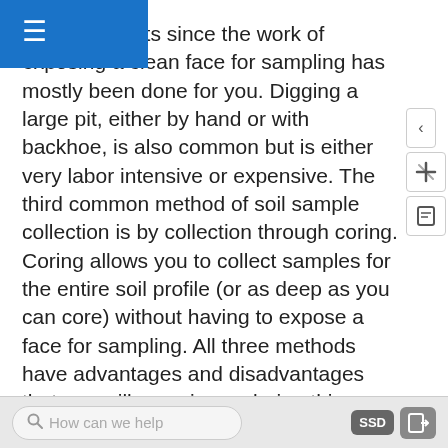ng of road cuts since the work of exposing a clean face for sampling has mostly been done for you. Digging a large pit, either by hand or with backhoe, is also common but is either very labor intensive or expensive. The third common method of soil sample collection is by collection through coring. Coring allows you to collect samples for the entire soil profile (or as deep as you can core) without having to expose a face for sampling. All three methods have advantages and disadvantages that you will experience during this exercise.
Typical Field Equipment:
Sturdy boots
Bandana
How can we help